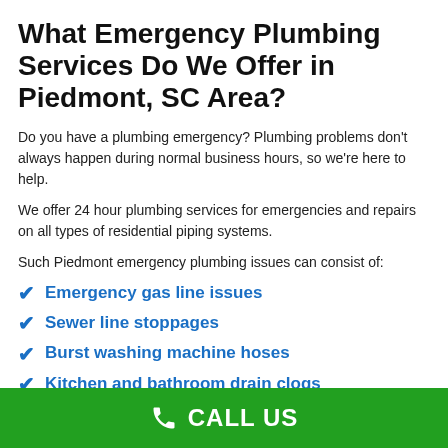What Emergency Plumbing Services Do We Offer in Piedmont, SC Area?
Do you have a plumbing emergency? Plumbing problems don't always happen during normal business hours, so we're here to help.
We offer 24 hour plumbing services for emergencies and repairs on all types of residential piping systems.
Such Piedmont emergency plumbing issues can consist of:
Emergency gas line issues
Sewer line stoppages
Burst washing machine hoses
Kitchen and bathroom drain clogs
CALL US